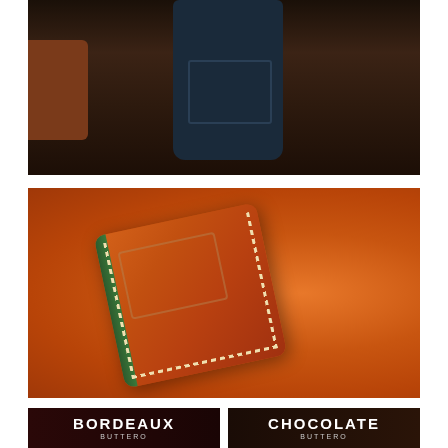[Figure (photo): Top portion of a product photo showing a dark navy/teal leather wallet on a dark wooden surface, with a partial view of another brown wallet on the left edge.]
[Figure (photo): Center photo of a tan/cognac orange leather card wallet with white stitching and a green edge, laid at an angle on an orange leather surface. The wallet has a front card slot outlined by stitching.]
[Figure (photo): Bottom-left label showing 'BORDEAUX BUTTERO' text in white on a dark background.]
[Figure (photo): Bottom-right label showing 'CHOCOLATE BUTTERO' text in white on a dark background.]